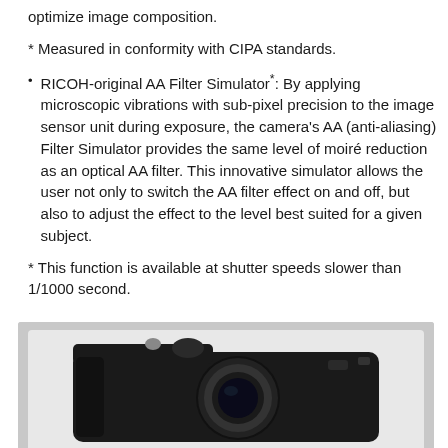optimize image composition.
* Measured in conformity with CIPA standards.
RICOH-original AA Filter Simulator*: By applying microscopic vibrations with sub-pixel precision to the image sensor unit during exposure, the camera's AA (anti-aliasing) Filter Simulator provides the same level of moiré reduction as an optical AA filter. This innovative simulator allows the user not only to switch the AA filter effect on and off, but also to adjust the effect to the level best suited for a given subject.
* This function is available at shutter speeds slower than 1/1000 second.
[Figure (photo): Photo of a Ricoh compact digital camera, black body, viewed from the front-top angle, showing lens and top controls.]